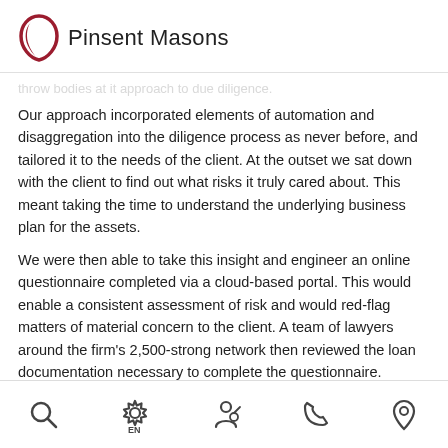[Figure (logo): Pinsent Masons logo with a red oval/teardrop shape and the text 'Pinsent Masons']
throw bodies at it approach to due diligence.
Our approach incorporated elements of automation and disaggregation into the diligence process as never before, and tailored it to the needs of the client. At the outset we sat down with the client to find out what risks it truly cared about. This meant taking the time to understand the underlying business plan for the assets.
We were then able to take this insight and engineer an online questionnaire completed via a cloud-based portal. This would enable a consistent assessment of risk and would red-flag matters of material concern to the client. A team of lawyers around the firm's 2,500-strong network then reviewed the loan documentation necessary to complete the questionnaire.
Navigation icons: search, settings (EN), person/profile, phone, location